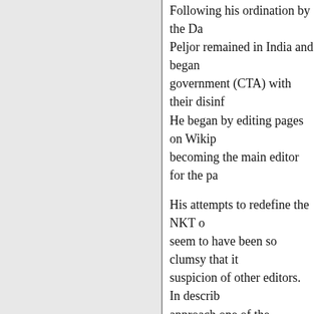Following his ordination by the Da Peljor remained in India and began government (CTA) with their disinf He began by editing pages on Wikip becoming the main editor for the pa
His attempts to redefine the NKT o seem to have been so clumsy that it suspicion of other editors. In describ approach one of the Wikipedia edito
“I’m very concerned that the opinio a relatively small number of individ as the source material for a large po which is representative of the point editor who, in his determination to e fully describes his own perspective, editing process.” (ClockworkSoul, 2
The Birth of the Survivors
As Tenzin’s campaign to discredit th Wikipedia was starting to lose groun